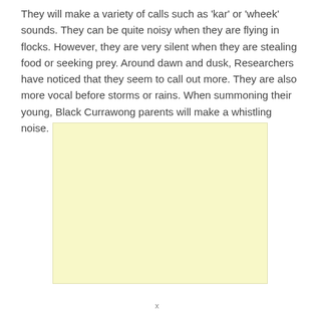They will make a variety of calls such as 'kar' or 'wheek' sounds. They can be quite noisy when they are flying in flocks. However, they are very silent when they are stealing food or seeking prey. Around dawn and dusk, Researchers have noticed that they seem to call out more. They are also more vocal before storms or rains. When summoning their young, Black Currawong parents will make a whistling noise.
[Figure (other): A plain light yellow rectangular advertisement or image placeholder block.]
x